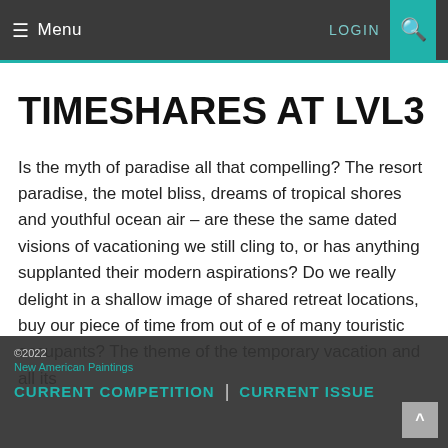≡ Menu   LOGIN 🔍
TIMESHARES AT LVL3
Is the myth of paradise all that compelling? The resort paradise, the motel bliss, dreams of tropical shores and youthful ocean air – are these the same dated visions of vacationing we still cling to, or has anything supplanted their modern aspirations? Do we really delight in a shallow image of shared retreat locations, buy our piece of time from out of … e of many touristic occupants? The theme of the temporary vacation and all its…
©2022 New American Paintings   CURRENT COMPETITION | CURRENT ISSUE   ^